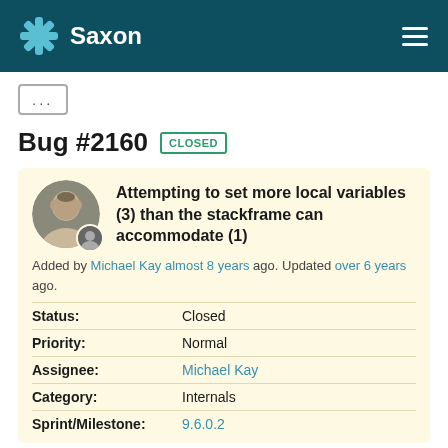Saxon
Bug #2160 CLOSED
Attempting to set more local variables (3) than the stackframe can accommodate (1)
Added by Michael Kay almost 8 years ago. Updated over 6 years ago.
| Field | Value |
| --- | --- |
| Status: | Closed |
| Priority: | Normal |
| Assignee: | Michael Kay |
| Category: | Internals |
| Sprint/Milestone: | 9.6.0.2 |